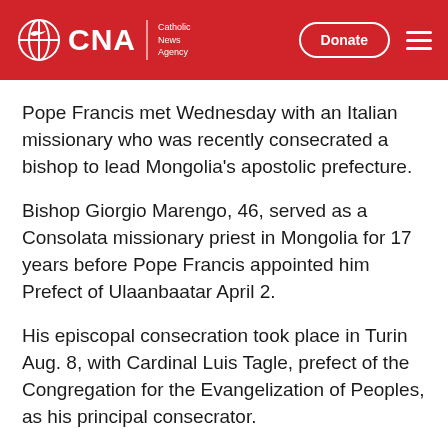CNA | Catholic News Agency
Pope Francis met Wednesday with an Italian missionary who was recently consecrated a bishop to lead Mongolia's apostolic prefecture.
Bishop Giorgio Marengo, 46, served as a Consolata missionary priest in Mongolia for 17 years before Pope Francis appointed him Prefect of Ulaanbaatar April 2.
His episcopal consecration took place in Turin Aug. 8, with Cardinal Luis Tagle, prefect of the Congregation for the Evangelization of Peoples, as his principal consecrator.